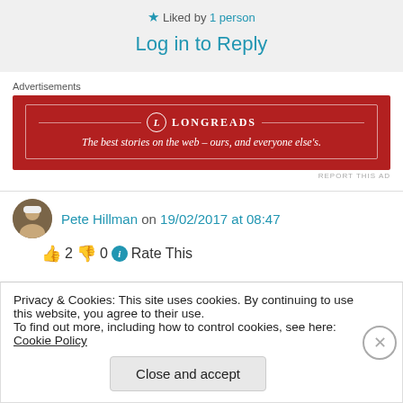★ Liked by 1 person
Log in to Reply
Advertisements
[Figure (other): Longreads advertisement banner — red background with white border, logo and tagline: The best stories on the web – ours, and everyone else's.]
REPORT THIS AD
Pete Hillman on 19/02/2017 at 08:47
👍 2 👎 0 ℹ Rate This
Privacy & Cookies: This site uses cookies. By continuing to use this website, you agree to their use.
To find out more, including how to control cookies, see here: Cookie Policy
Close and accept